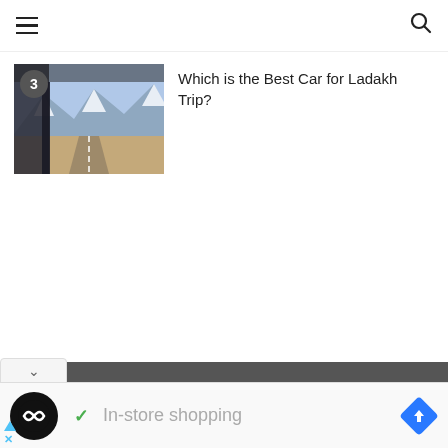Navigation menu and search icon
[Figure (photo): Mountain road scene from inside a vehicle, showing snow-capped mountains and a dirt road in Ladakh, with badge number 3]
Which is the Best Car for Ladakh Trip?
@2016 - Vargis Khan. All Rights Reserved.
BACK TO TOP
[Figure (infographic): Ad bar showing a black circular logo with infinity-like symbol, a green checkmark, In-store shopping text, and a blue navigation direction sign icon]